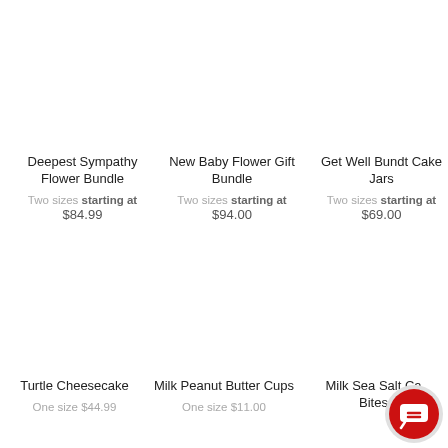Deepest Sympathy Flower Bundle
Two sizes starting at $84.99
New Baby Flower Gift Bundle
Two sizes starting at $94.00
Get Well Bundt Cake Jars
Two sizes starting at $69.00
Turtle Cheesecake
One size $44.99
Milk Peanut Butter Cups
One size $11.00
Milk Sea Salt Caramel Bites